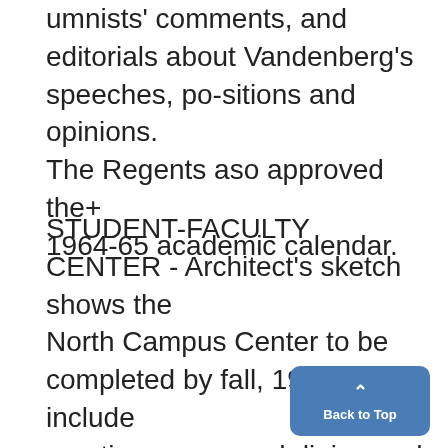umnists' comments, and editorials about Vandenberg's speeches, positions and opinions. The Regents aso approved the+ 1964-65 academic calendar.
STUDENT-FACULTY CENTER - Architect's sketch shows the North Campus Center to be completed by fall, 1964. It will include meeting rooms and dining and cafeteria areas for both students and faculty. 'U' To Construct 'Union'